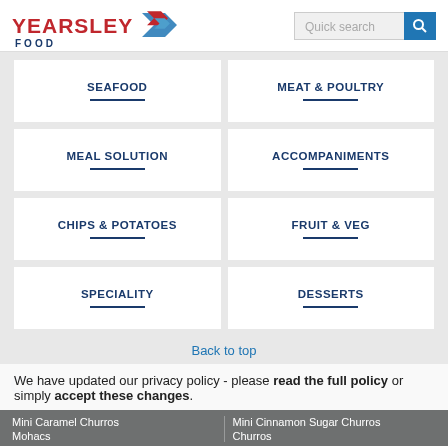[Figure (logo): Yearsley Food logo with red text and blue chevron/arrow graphic]
Quick search
SEAFOOD
MEAT & POULTRY
MEAL SOLUTION
ACCOMPANIMENTS
CHIPS & POTATOES
FRUIT & VEG
SPECIALITY
DESSERTS
Back to top
We have updated our privacy policy - please read the full policy or simply accept these changes.
Churros
Mini Caramel Churros
Mini Cinnamon Sugar Churros
Mahocs
Churros